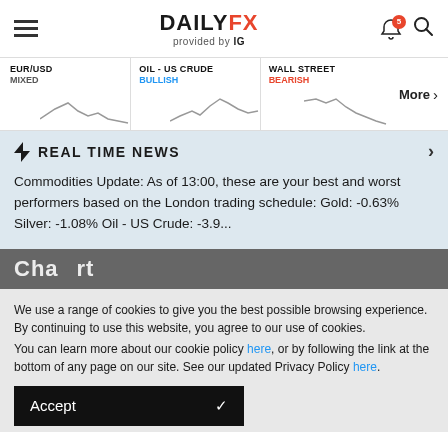[Figure (logo): DailyFX logo with 'provided by IG' subtitle, hamburger menu on left, bell icon with badge 5 and search icon on right]
[Figure (continuous-plot): Three mini sparkline charts showing EUR/USD (MIXED), OIL-US CRUDE (BULLISH), WALL STREET (BEARISH) with a More > link]
REAL TIME NEWS
Commodities Update: As of 13:00, these are your best and worst performers based on the London trading schedule: Gold: -0.63% Silver: -1.08% Oil - US Crude: -3.9...
We use a range of cookies to give you the best possible browsing experience. By continuing to use this website, you agree to our use of cookies.
You can learn more about our cookie policy here, or by following the link at the bottom of any page on our site. See our updated Privacy Policy here.
Accept